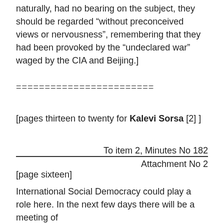naturally, had no bearing on the subject, they should be regarded “without preconceived views or nervousness”, remembering that they had been provoked by the “undeclared war” waged by the CIA and Beijing.]
========================
[pages thirteen to twenty for Kalevi Sorsa [2] ]
To item 2, Minutes No 182
Attachment No 2
[page sixteen]
International Social Democracy could play a role here. In the next few days there will be a meeting of